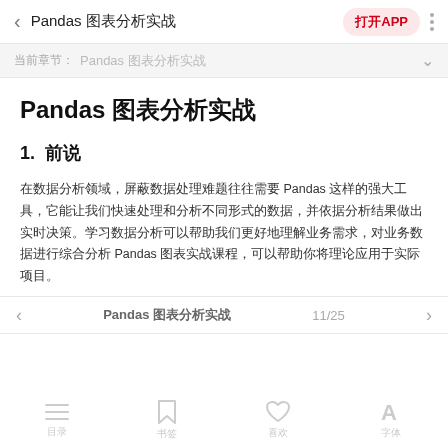< Pandas 数据分析实战 | 打开APP | ⋮
当前位置： Pandas 数据分析实战
Pandas 数据分析实战
1. 前言
在数据科学领域，掌握 Pandas 库的使用至关重要，它提供了丰富的数据结构与分析工具，可以帮助我们快速处理和分析数据。学习 Pandas 数据分析实战课程，可以让你将理论应用于实际项目。
< Pandas 数据分析实战  11/25  >
目录  书签  喜欢  字体